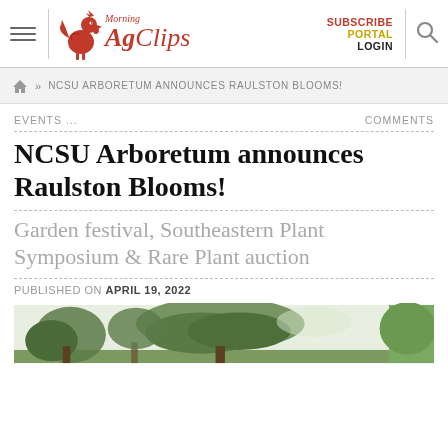Morning AgClips — SUBSCRIBE PORTAL LOGIN
» NCSU ARBORETUM ANNOUNCES RAULSTON BLOOMS!
EVENTS ...   COMMENTS
NCSU Arboretum announces Raulston Blooms!
Garden festival, Southeastern Plant Symposium & Rare Plant auction
PUBLISHED ON APRIL 19, 2022
[Figure (photo): Outdoor photo showing trees with green foliage against a light sky, partial view cropped at bottom of page]